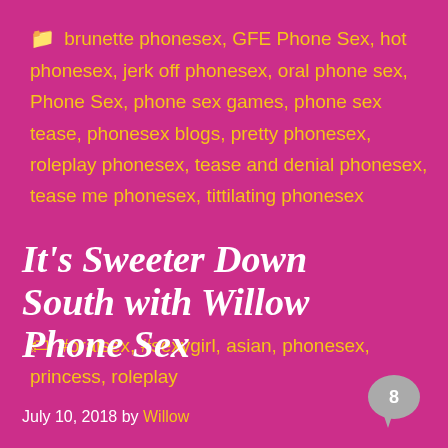📁 brunette phonesex, GFE Phone Sex, hot phonesex, jerk off phonesex, oral phone sex, Phone Sex, phone sex games, phone sex tease, phonesex blogs, pretty phonesex, roleplay phonesex, tease and denial phonesex, tease me phonesex, tittilating phonesex
🏷 #oralsex, #sexygirl, asian, phonesex, princess, roleplay
It's Sweeter Down South with Willow Phone Sex
July 10, 2018 by Willow